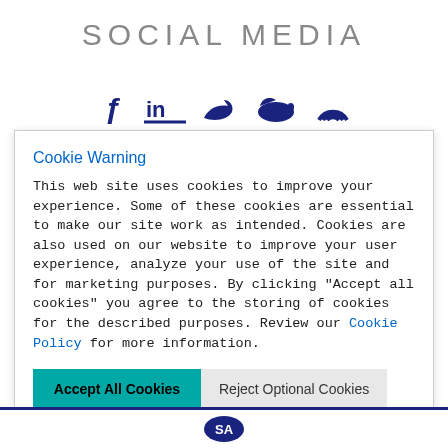SOCIAL MEDIA
[Figure (illustration): Row of five dark navy social media icons: Facebook, LinkedIn, Twitter/bird, another bird/whale shape, and a semicircle/rainbow icon]
Cookie Warning
This web site uses cookies to improve your experience. Some of these cookies are essential to make our site work as intended. Cookies are also used on our website to improve your user experience, analyze your use of the site and for marketing purposes. By clicking "Accept all cookies" you agree to the storing of cookies for the described purposes. Review our Cookie Policy for more information.
Accept All Cookies | Reject Optional Cookies
Cookie Settings
[Figure (logo): SA logo in circle at page footer, dark navy border line]